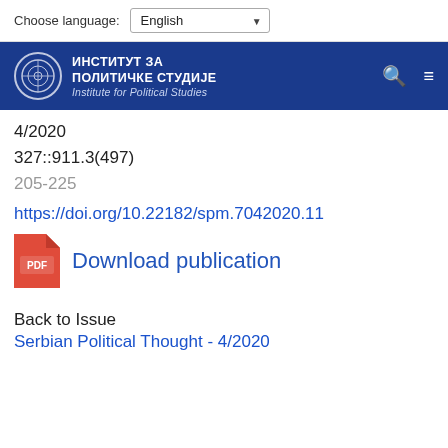Choose language: English
[Figure (logo): Institute for Political Studies logo and navigation bar with Cyrillic text ИНСТИТУТ ЗА ПОЛИТИЧКЕ СТУДИЈЕ and English subtitle Institute for Political Studies on a dark blue background]
4/2020
327::911.3(497)
205-225
https://doi.org/10.22182/spm.7042020.11
Download publication
Back to Issue
Serbian Political Thought - 4/2020